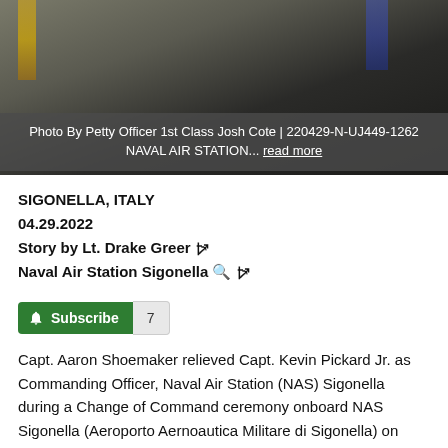[Figure (photo): Military personnel photograph, partially visible, with flags in the background. Two or more uniformed individuals.]
Photo By Petty Officer 1st Class Josh Cote | 220429-N-UJ449-1262 NAVAL AIR STATION... read more
SIGONELLA, ITALY
04.29.2022
Story by Lt. Drake Greer ↬
Naval Air Station Sigonella 🔍 ↬
[Figure (other): Subscribe button with bell icon and count badge showing 7]
Capt. Aaron Shoemaker relieved Capt. Kevin Pickard Jr. as Commanding Officer, Naval Air Station (NAS) Sigonella during a Change of Command ceremony onboard NAS Sigonella (Aeroporto Aernoautica Militare di Sigonella) on Thursday, April 29, 2022.
Rear Adm. Scott Gray, commander, Navy Region Europe, Africa, Southwest Asia (EURAFSWA) served as keynote speaker and praised Pickard for his hard work throughout his tenure.